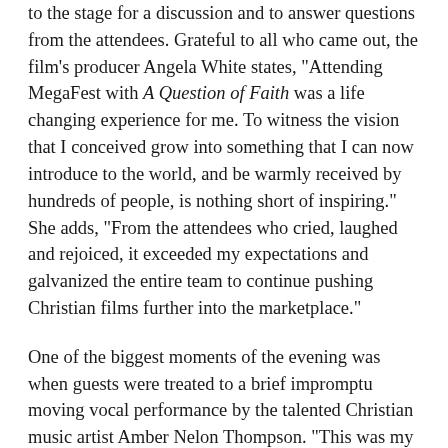to the stage for a discussion and to answer questions from the attendees. Grateful to all who came out, the film's producer Angela White states, "Attending MegaFest with A Question of Faith was a life changing experience for me. To witness the vision that I conceived grow into something that I can now introduce to the world, and be warmly received by hundreds of people, is nothing short of inspiring." She adds, "From the attendees who cried, laughed and rejoiced, it exceeded my expectations and galvanized the entire team to continue pushing Christian films further into the marketplace."
One of the biggest moments of the evening was when guests were treated to a brief impromptu moving vocal performance by the talented Christian music artist Amber Nelon Thompson. "This was my first time attending MegaFest and I was overwhelmed at the magnitude of the event!," shares the Daywind Records Recording Artist. "I was honored to be representing the film A Question of Faith, and I'm thankful to Bishop T.D. Jakes for allowing faith-based films to be screened at